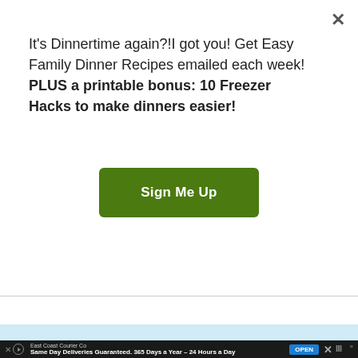It's Dinnertime again?!I got you! Get Easy Family Dinner Recipes emailed each week! PLUS a printable bonus: 10 Freezer Hacks to make dinners easier!
[Figure (other): Green 'Sign Me Up' button for email signup]
[Figure (logo): Watermark logo with stylized 'W' letters and superscript 'o']
[Figure (screenshot): Light blue teaser strip with partial text partially visible at bottom]
East Coast Courier Co Same Day Deliveries Guaranteed. 365 Days a Year – 24 Hours a Day